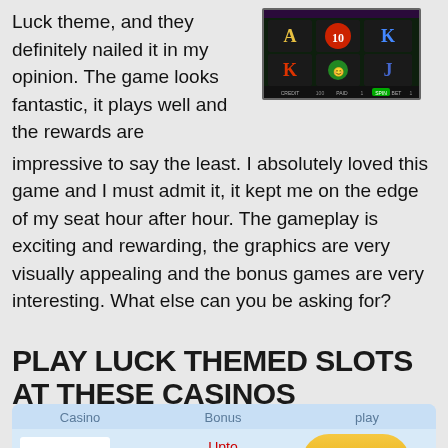Luck theme, and they definitely nailed it in my opinion. The game looks fantastic, it plays well and the rewards are impressive to say the least. I absolutely loved this game and I must admit it, it kept me on the edge of my seat hour after hour. The gameplay is exciting and rewarding, the graphics are very visually appealing and the bonus games are very interesting. What else can you be asking for?
[Figure (screenshot): Screenshot of a slot machine game interface showing card symbols (A, K, J, Q) on a dark themed grid with game controls at the bottom showing CREDIT, PAID, and TOTAL BET.]
PLAY LUCK THEMED SLOTS AT THESE CASINOS
| Casino | Bonus | play |
| --- | --- | --- |
| [logo] | Upto $200
T's&C's Apply | PLAY NOW
Read Review |